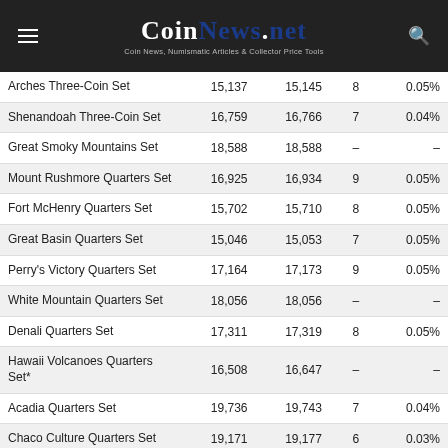CoinNews.net — Coin News, Numismatic Articles & Collector Price Tools
|  |  |  |  |  |
| --- | --- | --- | --- | --- |
| Arches Three-Coin Set | 15,137 | 15,145 | 8 | 0.05% |
| Shenandoah Three-Coin Set | 16,759 | 16,766 | 7 | 0.04% |
| Great Smoky Mountains Set | 18,588 | 18,588 | – | – |
| Mount Rushmore Quarters Set | 16,925 | 16,934 | 9 | 0.05% |
| Fort McHenry Quarters Set | 15,702 | 15,710 | 8 | 0.05% |
| Great Basin Quarters Set | 15,046 | 15,053 | 7 | 0.05% |
| Perry's Victory Quarters Set | 17,164 | 17,173 | 9 | 0.05% |
| White Mountain Quarters Set | 18,056 | 18,056 | – | – |
| Denali Quarters Set | 17,311 | 17,319 | 8 | 0.05% |
| Hawaii Volcanoes Quarters Set* | 16,508 | 16,647 | – | – |
| Acadia Quarters Set | 19,736 | 19,743 | 7 | 0.04% |
| Chaco Culture Quarters Set | 19,171 | 19,177 | 6 | 0.03% |
| …unque Quarters Set* | 19,891 | 19,891 | – | – |
| Chickasaw Quarters Set | 15,800 | 15,805 | 5 | 0.03% |